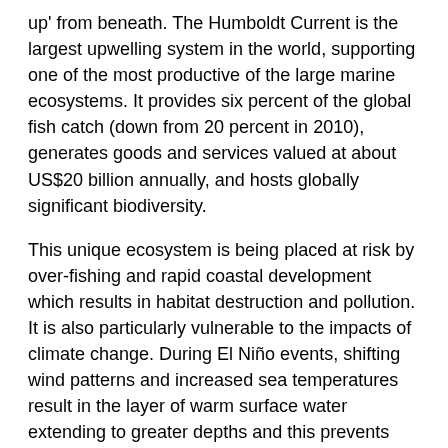up' from beneath. The Humboldt Current is the largest upwelling system in the world, supporting one of the most productive of the large marine ecosystems. It provides six percent of the global fish catch (down from 20 percent in 2010), generates goods and services valued at about US$20 billion annually, and hosts globally significant biodiversity.
This unique ecosystem is being placed at risk by over-fishing and rapid coastal development which results in habitat destruction and pollution. It is also particularly vulnerable to the impacts of climate change. During El Niño events, shifting wind patterns and increased sea temperatures result in the layer of warm surface water extending to greater depths and this prevents upwelling. Lower productivity causes fish stocks to collapse, which, in turn, triggers a cascade of negative environmental, social and economic impacts.
Between 2011 and 2016, UNDP provided support to the